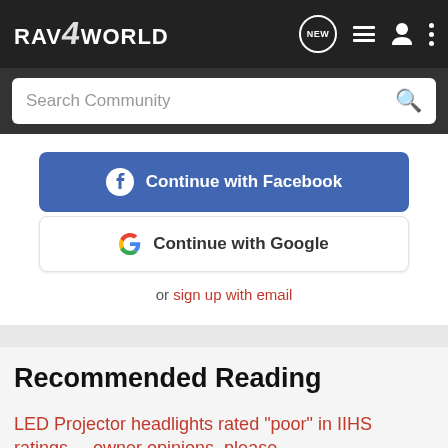RAV4WORLD
[Figure (screenshot): Search Community search bar]
[Figure (screenshot): Continue with Facebook button and Continue with Google button, with or sign up with email link]
Recommended Reading
LED Projector headlights rated "poor" in IIHS ratings.....owner opinions, please
4.5 RAV4 Hybrid (except Prime)